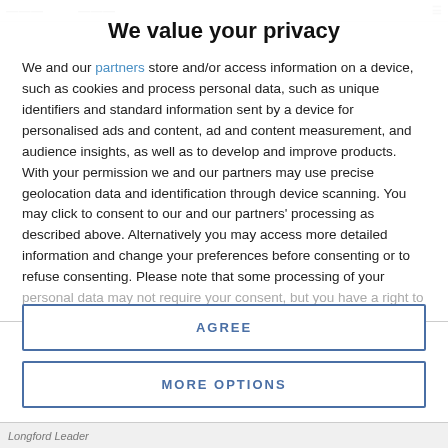We value your privacy
We and our partners store and/or access information on a device, such as cookies and process personal data, such as unique identifiers and standard information sent by a device for personalised ads and content, ad and content measurement, and audience insights, as well as to develop and improve products. With your permission we and our partners may use precise geolocation data and identification through device scanning. You may click to consent to our and our partners' processing as described above. Alternatively you may access more detailed information and change your preferences before consenting or to refuse consenting. Please note that some processing of your personal data may not require your consent, but you have a right to
AGREE
MORE OPTIONS
Longford Leader